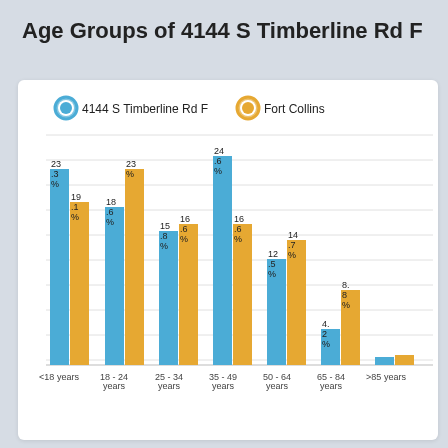Age Groups of 4144 S Timberline Rd F
[Figure (grouped-bar-chart): Age Groups of 4144 S Timberline Rd F]